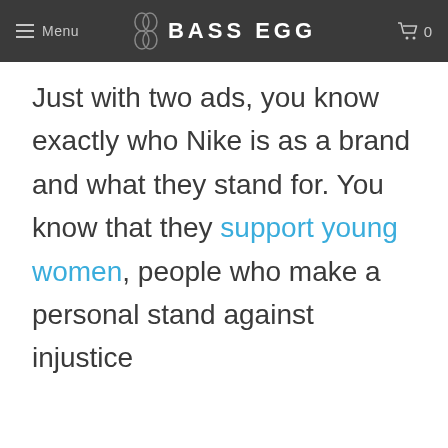Menu  BASS EGG  0
Just with two ads, you know exactly who Nike is as a brand and what they stand for. You know that they support young women, people who make a personal stand against injustice